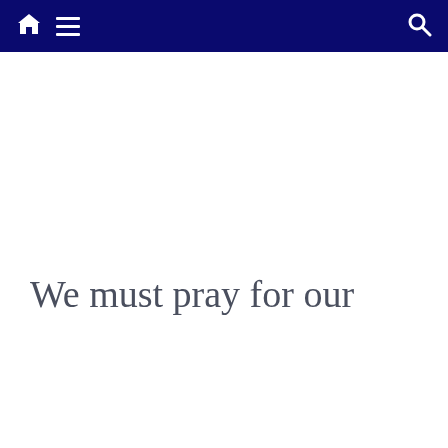Navigation bar with home, menu, and search icons
We must pray for our